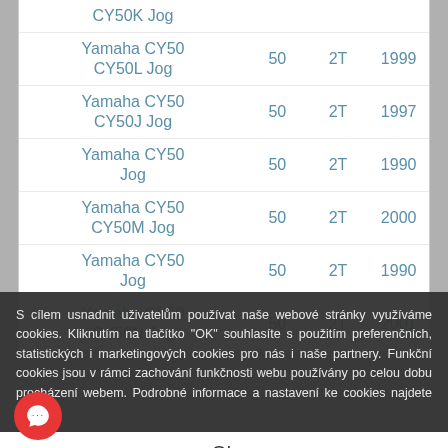| Model | cc | Type | Year |
| --- | --- | --- | --- |
| Yamaha CY50 CY50K Jog | 50 | 2T |  |
| Yamaha CY50 CY50L Jog | 50 | 2T | 1999 |
| Yamaha CY50 CY50J Jog | 50 | 2T | 1997 |
| Yamaha CY50 Jog | 50 | 2T | 1990 |
| Yamaha CY50 CY50M Jog | 50 | 2T | 2000 |
| Yamaha CY50 Jog | 50 | 2T | 1990 |
| Yamaha CY50 CY50N Jog | 50 | 2T | 2001 |
S cílem usnadnit uživatelům používat naše webové stránky využíváme cookies. Kliknutím na tlačítko "OK" souhlasíte s použitím preferenčních, statistických i marketingových cookies pro nás i naše partnery. Funkční cookies jsou v rámci zachování funkčnosti webu používány po celou dobu procházení webem. Podrobné informace a nastavení ke cookies najdete zde.